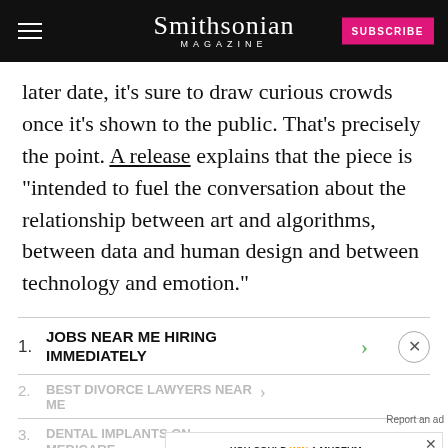Smithsonian MAGAZINE | SUBSCRIBE
later date, it’s sure to draw curious crowds once it’s shown to the public. That’s precisely the point. A release explains that the piece is “intended to fuel the conversation about the relationship between art and algorithms, between data and human design and between technology and emotion.”
1. JOBS NEAR ME HIRING IMMEDIATELY
2. BEST DIVORCE LAWYERS NEAR ME
3. DENTAL IMPLANTS ON MEDICARE
[Figure (screenshot): Quaker advertisement: YOU COULD WIN A MUSEUM FIELD TRIP TO D.C. with LEARN MORE button and museum building illustration. Small print: NO PURCHASE NECESSARY. ENDS 8/14/22. SEE WEBSITE FOR DETAILS AND OFFICIAL RULES.]